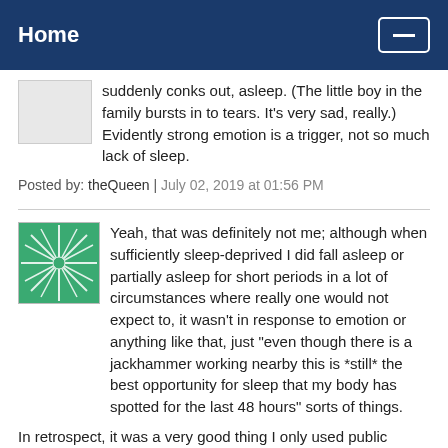Home
suddenly conks out, asleep. (The little boy in the family bursts in to tears. It's very sad, really.) Evidently strong emotion is a trigger, not so much lack of sleep.
Posted by: theQueen | July 02, 2019 at 01:56 PM
Yeah, that was definitely not me; although when sufficiently sleep-deprived I did fall asleep or partially asleep for short periods in a lot of circumstances where really one would not expect to, it wasn't in response to emotion or anything like that, just "even though there is a jackhammer working nearby this is *still* the best opportunity for sleep that my body has spotted for the last 48 hours" sorts of things.
In retrospect, it was a very good thing I only used public transit and didn't drive at all during those years. Bus passenger falls asleep: substantially fewer fatalities likely than if a driver falls asleep...
Also: what are they doing showing films of a man screaming at his